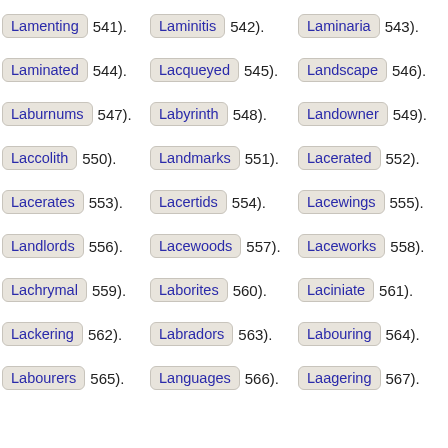Lamenting 541). Laminitis 542). Laminaria 543).
Laminated 544). Lacqueyed 545). Landscape 546).
Laburnums 547). Labyrinth 548). Landowner 549).
Laccolith 550). Landmarks 551). Lacerated 552).
Lacerates 553). Lacertids 554). Lacewings 555).
Landlords 556). Lacewoods 557). Laceworks 558).
Lachrymal 559). Laborites 560). Laciniate 561).
Lackering 562). Labradors 563). Labouring 564).
Labourers 565). Languages 566). Laagering 567).